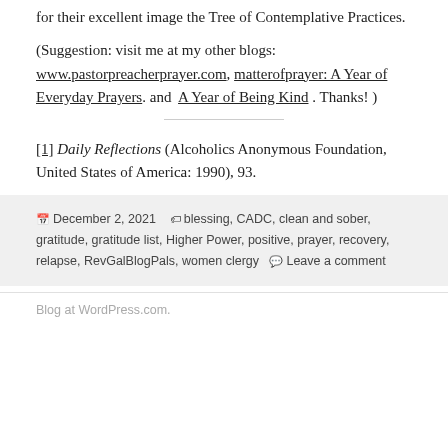for their excellent image the Tree of Contemplative Practices.
(Suggestion: visit me at my other blogs: www.pastorpreacherprayer.com, matterofprayer: A Year of Everyday Prayers. and  A Year of Being Kind . Thanks! )
[1] Daily Reflections (Alcoholics Anonymous Foundation, United States of America: 1990), 93.
December 2, 2021   blessing, CADC, clean and sober, gratitude, gratitude list, Higher Power, positive, prayer, recovery, relapse, RevGalBlogPals, women clergy   Leave a comment
Blog at WordPress.com.